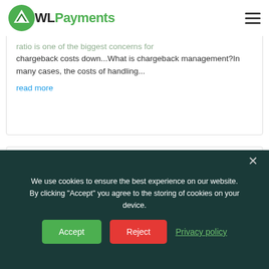WLPayments
ratio is one of the biggest concerns for... chargeback costs down...What is chargeback management?In many cases, the costs of handling...
read more
Payment Orchestration Platform
Aug 24, 2022 |
We use cookies to ensure the best experience on our website. By clicking "Accept" you agree to the storing of cookies on your device.